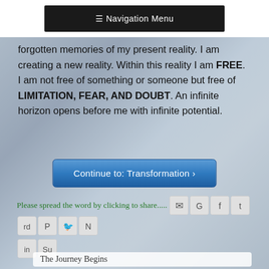≡ Navigation Menu
forgotten memories of my present reality. I am creating a new reality. Within this reality I am FREE. I am not free of something or someone but free of LIMITATION, FEAR, AND DOUBT. An infinite horizon opens before me with infinite potential.
Continue to: Transformation ›
Please spread the word by clicking to share.....
The Journey Begins